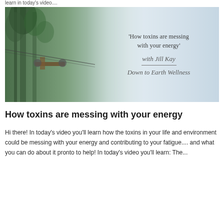learn in today's video....
[Figure (illustration): Thumbnail image for wellness video. Left half shows a green forest/nature scene with trees and a wooden structure. Right half fades to a soft blue-grey background with text overlay reading: 'How toxins are messing with your energy' with Jill Kay / Down to Earth Wellness in cursive script.]
How toxins are messing with your energy
Hi there! In today's video you'll learn how the toxins in your life and environment could be messing with your energy and contributing to your fatigue.... and what you can do about it pronto to help! In today's video you'll learn: The...